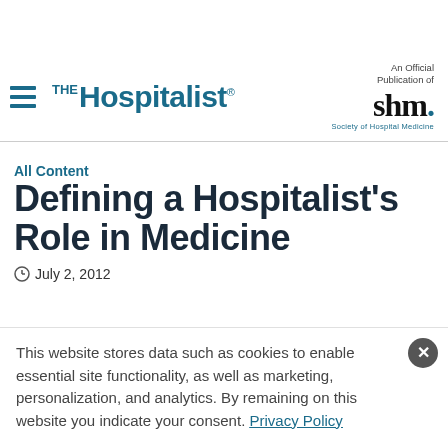The Hospitalist — An Official Publication of Society of Hospital Medicine
All Content
Defining a Hospitalist's Role in Medicine
July 2, 2012
This website stores data such as cookies to enable essential site functionality, as well as marketing, personalization, and analytics. By remaining on this website you indicate your consent. Privacy Policy